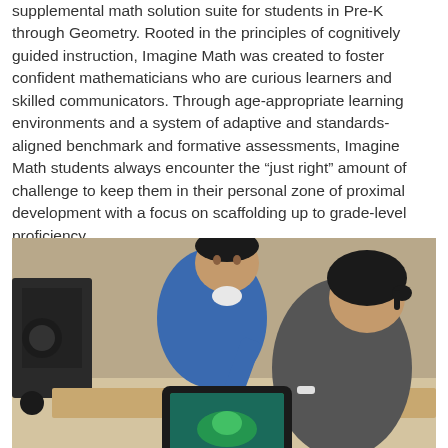supplemental math solution suite for students in Pre-K through Geometry. Rooted in the principles of cognitively guided instruction, Imagine Math was created to foster confident mathematicians who are curious learners and skilled communicators. Through age-appropriate learning environments and a system of adaptive and standards-aligned benchmark and formative assessments, Imagine Math students always encounter the "just right" amount of challenge to keep them in their personal zone of proximal development with a focus on scaffolding up to grade-level proficiency.
[Figure (photo): Two young children, a boy in a blue jacket and a girl with dark hair in pigtails, sitting at a table looking at a tablet device in a classroom setting.]